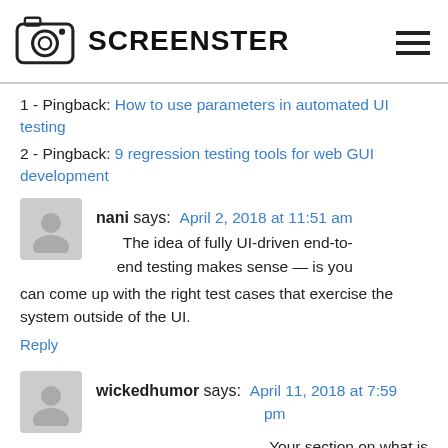SCREENSTER
1 - Pingback: How to use parameters in automated UI testing
2 - Pingback: 9 regression testing tools for web GUI development
nani says: April 2, 2018 at 11:51 am
The idea of fully UI-driven end-to-end testing makes sense — is you can come up with the right test cases that exercise the system outside of the UI.
Reply
wickedhumor says: April 11, 2018 at 7:59 pm
Your section on what is end-to-end testing mentions that it tests functionality and performance across all levels and subsystems. How can you do it then with what's basically a UI